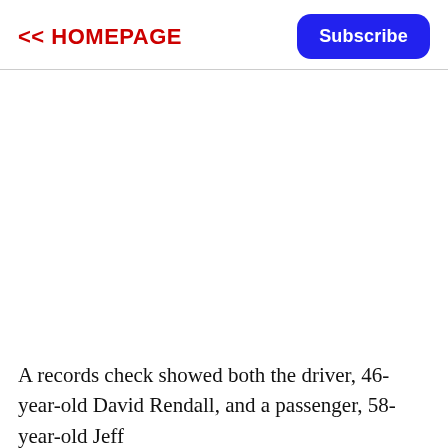<< HOMEPAGE
A records check showed both the driver, 46-year-old David Rendall, and a passenger, 58-year-old Jeff